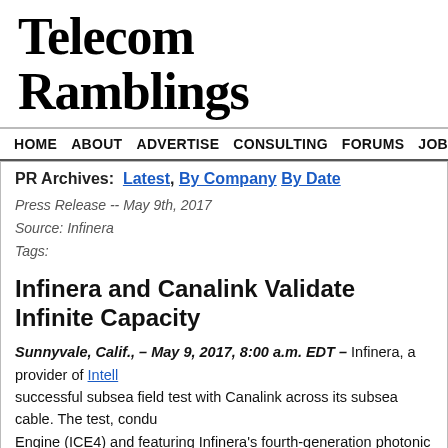Telecom Ramblings
HOME  ABOUT  ADVERTISE  CONSULTING  FORUMS  JOBS  CO
PR Archives:  Latest,  By Company  By Date
Press Release -- May 9th, 2017
Source: Infinera
Tags:
Infinera and Canalink Validate Infinite Capacity
Sunnyvale, Calif., – May 9, 2017, 8:00 a.m. EDT – Infinera, a provider of Intell... successful subsea field test with Canalink across its subsea cable. The test, condu... Engine (ICE4) and featuring Infinera's fourth-generation photonic integrated circ... upgrade the cable capacity 13-fold.
Canalink, a wholly-owned subsidiary of the ITER group, owns a system of under... Islands with the Iberian Peninsula and the west coast of Africa. Canalink...